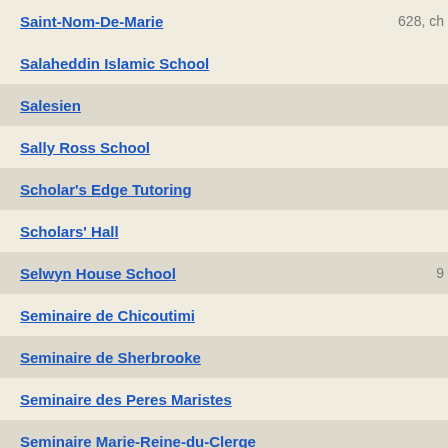Saint-Nom-De-Marie
Salaheddin Islamic School
Salesien
Sally Ross School
Scholar's Edge Tutoring
Scholars' Hall
Selwyn House School
Seminaire de Chicoutimi
Seminaire de Sherbrooke
Seminaire des Peres Maristes
Seminaire Marie-Reine-du-Clerge